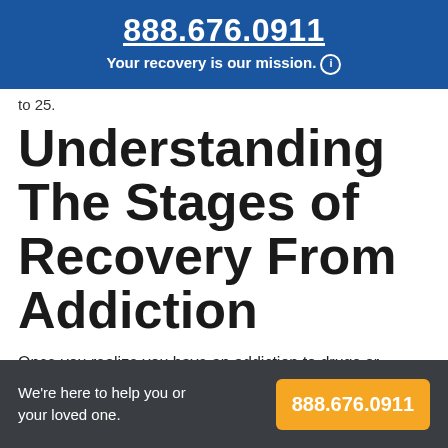888.676.0911
Your recovery is our mission. ℹ
to 25.
Understanding The Stages of Recovery From Addiction
Once you realize you have an addiction to drugs or alcohol, you begin the long journey of recovery. Making
We're here to help you or your loved one.  888.676.0911